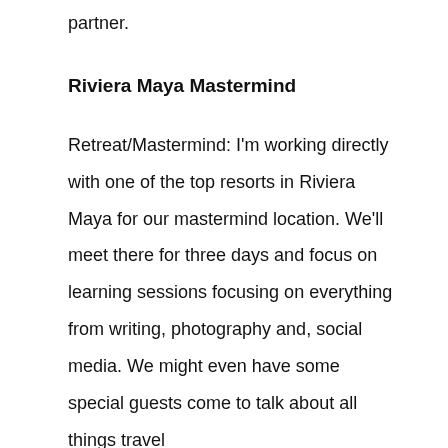partner.
Riviera Maya Mastermind
Retreat/Mastermind: I'm working directly with one of the top resorts in Riviera Maya for our mastermind location. We'll meet there for three days and focus on learning sessions focusing on everything from writing, photography and, social media. We might even have some special guests come to talk about all things travel